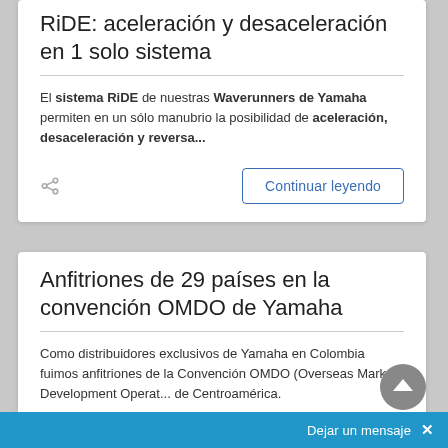RiDE: aceleración y desaceleración en 1 solo sistema
El sistema RiDE de nuestras Waverunners de Yamaha permiten en un sólo manubrio la posibilidad de aceleración, desaceleración y reversa...
Anfitriones de 29 países en la convención OMDO de Yamaha
Como distribuidores exclusivos de Yamaha en Colombia fuimos anfitriones de la Convención OMDO (Overseas Market Development Operat... de Centroamérica.